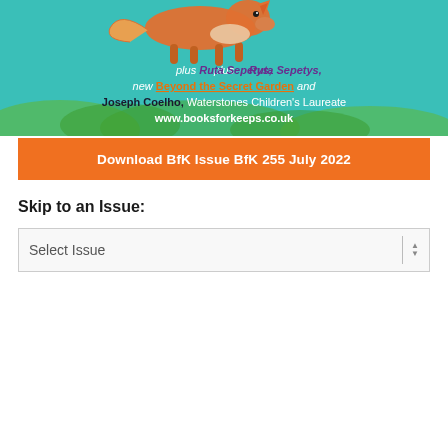[Figure (illustration): Banner image with teal/green illustrated background showing an animal (fox or similar), with promotional text for Books for Keeps magazine featuring Ruta Sepetys, Beyond the Secret Garden, and Joseph Coelho, Waterstones Children's Laureate, and website www.booksforkeeps.co.uk]
Download BfK Issue BfK 255 July 2022
Skip to an Issue:
Select Issue